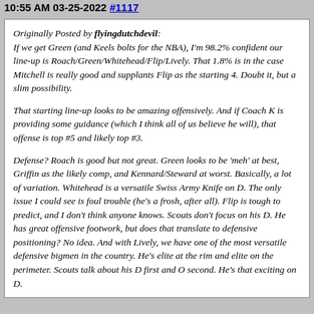10:55 AM 03-25-2022 #1117
Originally Posted by flyingdutchdevil:
If we get Green (and Keels bolts for the NBA), I'm 98.2% confident our line-up is Roach/Green/Whitehead/Flip/Lively. That 1.8% is in the case Mitchell is really good and supplants Flip as the starting 4. Doubt it, but a slim possibility.

That starting line-up looks to be amazing offensively. And if Coach K is providing some guidance (which I think all of us believe he will), that offense is top #5 and likely top #3.

Defense? Roach is good but not great. Green looks to be 'meh' at best, Griffin as the likely comp, and Kennard/Steward at worst. Basically, a lot of variation. Whitehead is a versatile Swiss Army Knife on D. The only issue I could see is foul trouble (he's a frosh, after all). Flip is tough to predict, and I don't think anyone knows. Scouts don't focus on his D. He has great offensive footwork, but does that translate to defensive positioning? No idea. And with Lively, we have one of the most versatile defensive bigmen in the country. He's elite at the rim and elite on the perimeter. Scouts talk about his D first and O second. He's that exciting on D.